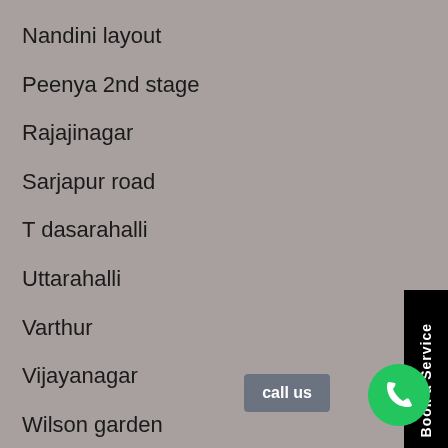Nandini layout
Peenya 2nd stage
Rajajinagar
Sarjapur road
T dasarahalli
Uttarahalli
Varthur
Vijayanagar
Wilson garden
Yeshwanthpur
Sahakara Nagar
Book a Service
call us